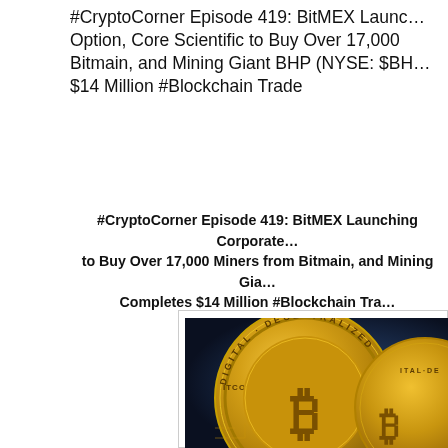#CryptoCorner Episode 419: BitMEX Launching Corporate Option, Core Scientific to Buy Over 17,000 Miners from Bitmain, and Mining Giant BHP (NYSE: $BHP) Completes $14 Million #Blockchain Trade
#CryptoCorner Episode 419: BitMEX Launching Corporate Option, Core Scientific to Buy Over 17,000 Miners from Bitmain, and Mining Giant BHP Completes $14 Million #Blockchain Trade
[Figure (photo): Close-up photo of golden Bitcoin coins with 'DIGITAL DECENTRALIZED' text around the edge, against a dark blue background]